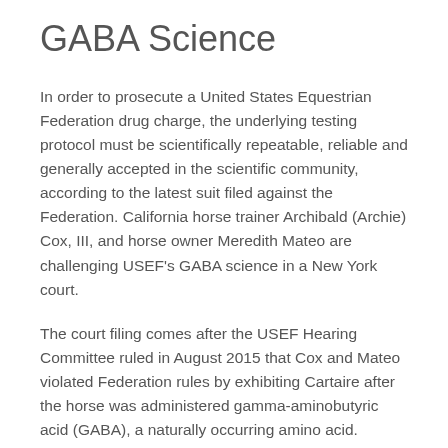GABA Science
In order to prosecute a United States Equestrian Federation drug charge, the underlying testing protocol must be scientifically repeatable, reliable and generally accepted in the scientific community, according to the latest suit filed against the Federation. California horse trainer Archibald (Archie) Cox, III, and horse owner Meredith Mateo are challenging USEF's GABA science in a New York court.
The court filing comes after the USEF Hearing Committee ruled in August 2015 that Cox and Mateo violated Federation rules by exhibiting Cartaire after the horse was administered gamma-aminobutyric acid (GABA), a naturally occurring amino acid.
USEF brought the charge after Cartaire was exhibited at the Blenheim Summer Classic II Horse Show in